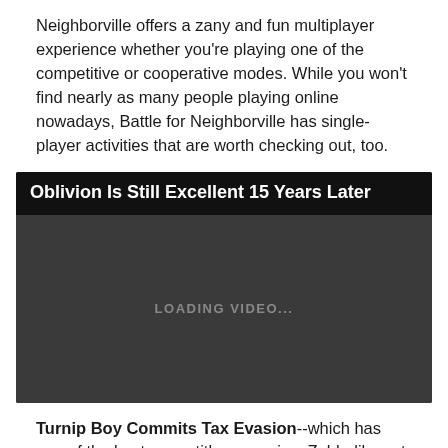Neighborville offers a zany and fun multiplayer experience whether you're playing one of the competitive or cooperative modes. While you won't find nearly as many people playing online nowadays, Battle for Neighborville has single-player activities that are worth checking out, too.
[Figure (screenshot): Video embed placeholder with title 'Oblivion Is Still Excellent 15 Years Later' on a black header bar, and a dark gray video loading area showing 'LOADING VIDEO...' text in the center.]
Turnip Boy Commits Tax Evasion--which has one of the best game titles ever--is a Zelda-like set in a world filled with vegetables. This top-down action-adventure features clever